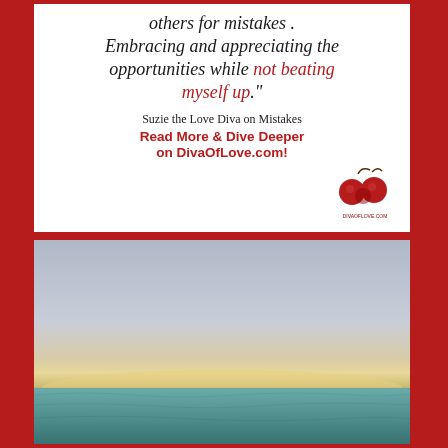others for mistakes. Embracing and appreciating the opportunities while not beating myself up."

Suzie the Love Diva on Mistakes
Read More & Dive Deeper
on DivaOfLove.com!
[Figure (photo): Ocean seascape photo with calm water in foreground, pale horizon, and grey-blue sky with soft warm glow near horizon.]